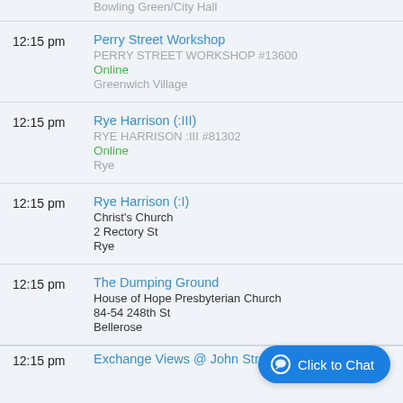Bowling Green/City Hall
12:15 pm | Perry Street Workshop | PERRY STREET WORKSHOP #13600 | Online | Greenwich Village
12:15 pm | Rye Harrison (:III) | RYE HARRISON :III #81302 | Online | Rye
12:15 pm | Rye Harrison (:I) | Christ's Church | 2 Rectory St | Rye
12:15 pm | The Dumping Ground | House of Hope Presbyterian Church | 84-54 248th St | Bellerose
Click to Chat
12:15 pm | Exchange Views @ John Street Church